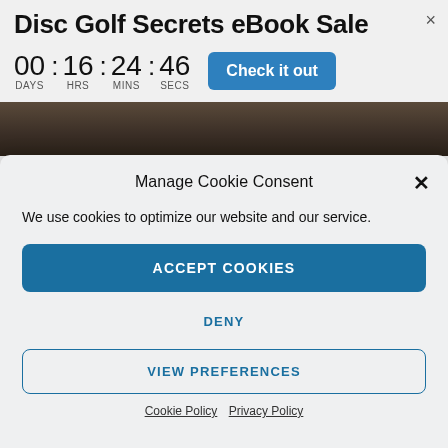Disc Golf Secrets eBook Sale
00 : 16 : 24 : 46 DAYS HRS MINS SECS
[Figure (screenshot): Dark photo strip showing a person in dark clothing, partially visible]
Manage Cookie Consent
We use cookies to optimize our website and our service.
ACCEPT COOKIES
DENY
VIEW PREFERENCES
Cookie Policy  Privacy Policy